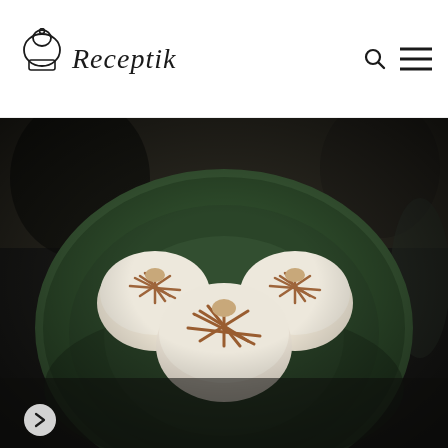Receptik
[Figure (photo): Overhead photo of three round steamed buns with cross-hatched brown markings on top, served on a green ceramic plate, dark moody background]